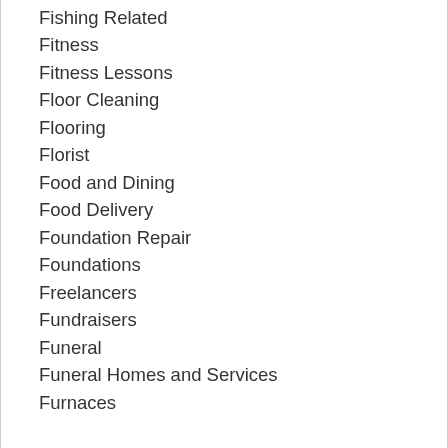Fishing Related
Fitness
Fitness Lessons
Floor Cleaning
Flooring
Florist
Food and Dining
Food Delivery
Foundation Repair
Foundations
Freelancers
Fundraisers
Funeral
Funeral Homes and Services
Furnaces